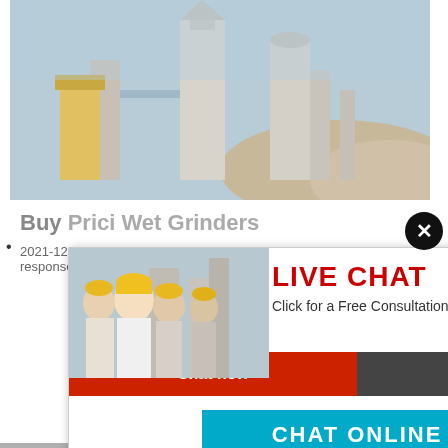[Figure (photo): Industrial facility with silos and machinery against blue sky]
Buy Prici Wet Grinders
2021-12-3...
response...
[Figure (screenshot): Live chat popup with workers in hard hats and consultant with headset. Contains LIVE CHAT heading, 'Click for a Free Consultation' text, Chat now and Chat later buttons, CHAT ONLINE button, and a close X button.]
ave any requests, click here.
Quotation
Enquiry
limingjlmofen@sina.com
[Figure (photo): Construction/industrial equipment photo at bottom of page]